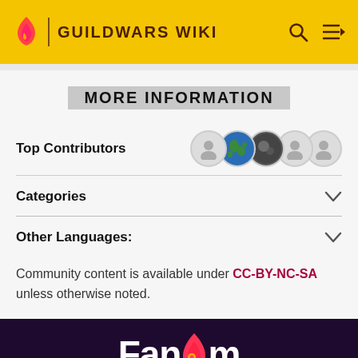GUILDWARS WIKI
MORE INFORMATION
Top Contributors
Categories
Other Languages:
Community content is available under CC-BY-NC-SA unless otherwise noted.
Fandom